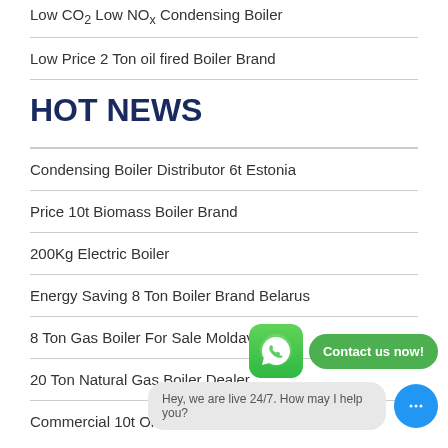Low CO2 Low NOx Condensing Boiler
Low Price 2 Ton oil fired Boiler Brand
HOT NEWS
Condensing Boiler Distributor 6t Estonia
Price 10t Biomass Boiler Brand
200Kg Electric Boiler
Energy Saving 8 Ton Boiler Brand Belarus
8 Ton Gas Boiler For Sale Moldavia
20 Ton Natural Gas Boiler Dealer
Commercial 10t Oil Boiler Brand Latvia